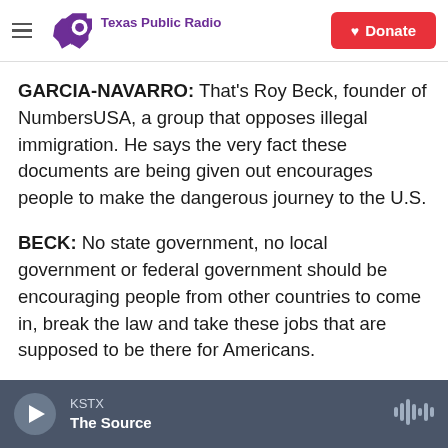Texas Public Radio — Donate
GARCIA-NAVARRO: That's Roy Beck, founder of NumbersUSA, a group that opposes illegal immigration. He says the very fact these documents are being given out encourages people to make the dangerous journey to the U.S.
BECK: No state government, no local government or federal government should be encouraging people from other countries to come in, break the law and take these jobs that are supposed to be there for Americans.
GARCIA-NAVARRO: There are other reasons why
KSTX — The Source